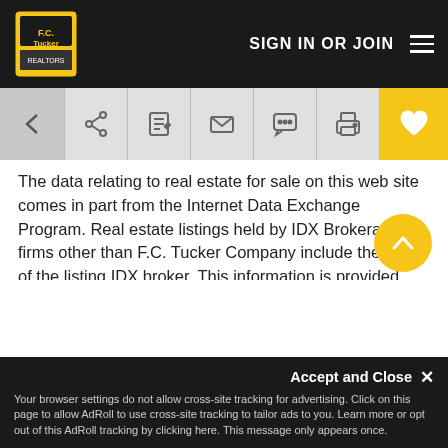F.C. Tucker Company — SIGN IN OR JOIN
[Figure (screenshot): Navigation toolbar with back arrow, share, edit, email, chat, print icons, and a yellow heart/favorite button]
The data relating to real estate for sale on this web site comes in part from the Internet Data Exchange Program. Real estate listings held by IDX Brokerage firms other than F.C. Tucker Company include the name of the listing IDX broker. This information is provided exclusively for personal, non-commercial use and may not be used for any purpose other than to identify prospective properties consumers may be interested in purchasing. The broker providing this data believes it to be correct, but advises interested parties to confirm them before relying on them in a purchase decision. Information deemed reliable but is not guaranteed.
Accept and Close ✕
Your browser settings do not allow cross-site tracking for advertising. Click on this page to allow AdRoll to use cross-site tracking to tailor ads to you. Learn more or opt out of this AdRoll tracking by clicking here. This message only appears once.